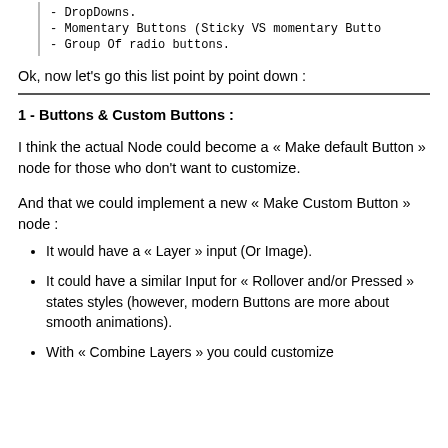- DropDowns.
- Momentary Buttons (Sticky VS momentary Butto
- Group Of radio buttons.
Ok, now let's go this list point by point down :
1 - Buttons & Custom Buttons :
I think the actual Node could become a « Make default Button » node for those who don't want to customize.
And that we could implement a new « Make Custom Button » node :
It would have a « Layer » input (Or Image).
It could have a similar Input for « Rollover and/or Pressed » states styles (however, modern Buttons are more about smooth animations).
With « Combine Layers » you could customize